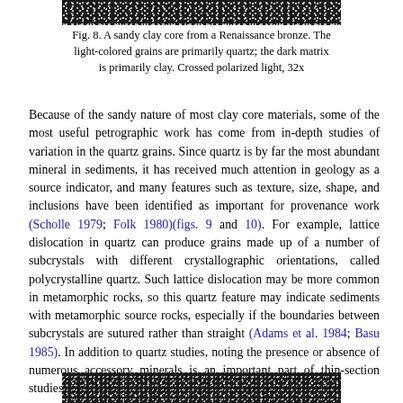[Figure (photo): Top portion of a black and white photomicrograph of a sandy clay core from a Renaissance bronze showing light-colored quartz grains against a dark clay matrix.]
Fig. 8. A sandy clay core from a Renaissance bronze. The light-colored grains are primarily quartz; the dark matrix is primarily clay. Crossed polarized light, 32x
Because of the sandy nature of most clay core materials, some of the most useful petrographic work has come from in-depth studies of variation in the quartz grains. Since quartz is by far the most abundant mineral in sediments, it has received much attention in geology as a source indicator, and many features such as texture, size, shape, and inclusions have been identified as important for provenance work (Scholle 1979; Folk 1980)(figs. 9 and 10). For example, lattice dislocation in quartz can produce grains made up of a number of subcrystals with different crystallographic orientations, called polycrystalline quartz. Such lattice dislocation may be more common in metamorphic rocks, so this quartz feature may indicate sediments with metamorphic source rocks, especially if the boundaries between subcrystals are sutured rather than straight (Adams et al. 1984; Basu 1985). In addition to quartz studies, noting the presence or absence of numerous accessory minerals is an important part of thin-section studies of clay core materials.
[Figure (photo): Bottom portion of a photomicrograph showing sandy clay core material.]